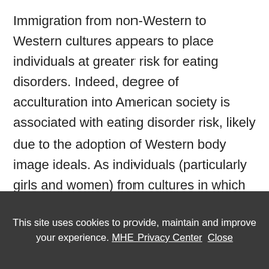Immigration from non-Western to Western cultures appears to place individuals at greater risk for eating disorders. Indeed, degree of acculturation into American society is associated with eating disorder risk, likely due to the adoption of Western body image ideals. As individuals (particularly girls and women) from cultures in which AN is unknown or extremely rare immigrate to Westernized societies with higher rates of AN, they tend to develop disorders as they attempt to acculturate.
This site uses cookies to provide, maintain and improve your experience. MHE Privacy Center  Close